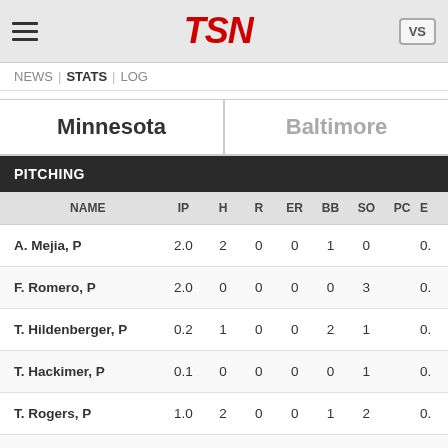TSN
NEWS | STATS | LOG
| Minnesota | Baltimore |
| --- | --- |
PITCHING
| NAME | IP | H | R | ER | BB | SO | PC | E |
| --- | --- | --- | --- | --- | --- | --- | --- | --- |
| A. Mejia, P | 2.0 | 2 | 0 | 0 | 1 | 0 |  | 0. |
| F. Romero, P | 2.0 | 0 | 0 | 0 | 0 | 3 |  | 0. |
| T. Hildenberger, P | 0.2 | 1 | 0 | 0 | 2 | 1 |  | 0. |
| T. Hackimer, P | 0.1 | 0 | 0 | 0 | 0 | 1 |  | 0. |
| T. Rogers, P | 1.0 | 2 | 0 | 0 | 1 | 2 |  | 0. |
| G. Moya, P | 1.0 | 2 | 1 | 1 | 0 | 0 |  | 9. |
| J. Reed, P | 1.0 | 2 | 0 | 0 | 1 | 2 |  | 0. |
| M. Magill, P | 1.0 | 2 | 0 | 0 | 0 | 3 |  | 0. |